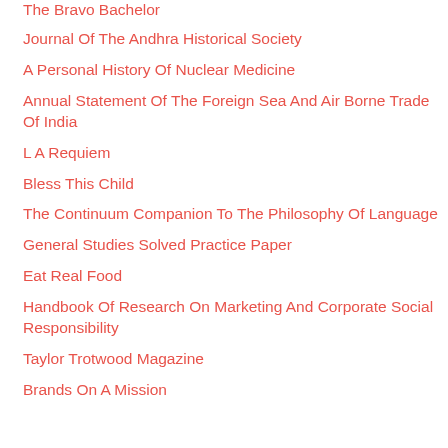The Bravo Bachelor
Journal Of The Andhra Historical Society
A Personal History Of Nuclear Medicine
Annual Statement Of The Foreign Sea And Air Borne Trade Of India
L A Requiem
Bless This Child
The Continuum Companion To The Philosophy Of Language
General Studies Solved Practice Paper
Eat Real Food
Handbook Of Research On Marketing And Corporate Social Responsibility
Taylor Trotwood Magazine
Brands On A Mission